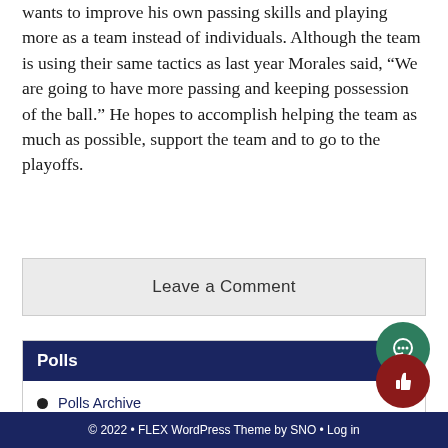wants to improve his own passing skills and playing more as a team instead of individuals. Although the team is using their same tactics as last year Morales said, “We are going to have more passing and keeping possession of the ball.” He hopes to accomplish helping the team as much as possible, support the team and to go to the playoffs.
Leave a Comment
Polls
Polls Archive
© 2022 • FLEX WordPress Theme by SNO • Log in